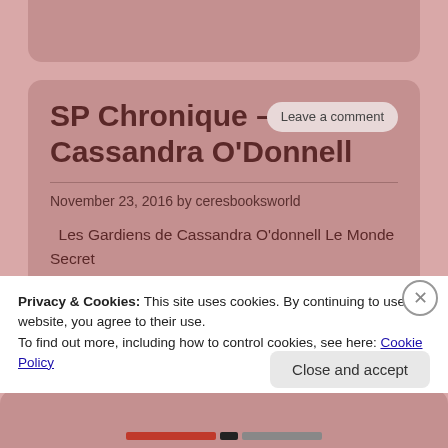SP Chronique – Les C... Cassandra O'Donnell
November 23, 2016 by ceresbooksworld
Les Gardiens de Cassandra O'donnell Le Monde Secret de Sombreterre tome 2 Editeur : Flammarion Jeunesse
Privacy & Cookies: This site uses cookies. By continuing to use this website, you agree to their use.
To find out more, including how to control cookies, see here: Cookie Policy
Close and accept